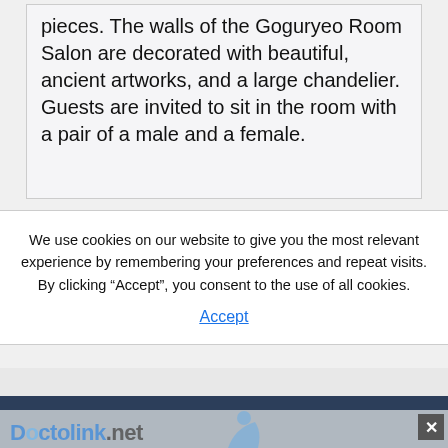pieces. The walls of the Goguryeo Room Salon are decorated with beautiful, ancient artworks, and a large chandelier. Guests are invited to sit in the room with a pair of a male and a female.
We use cookies on our website to give you the most relevant experience by remembering your preferences and repeat visits. By clicking “Accept”, you consent to the use of all cookies.
Accept
[Figure (screenshot): Bottom advertisement/promo strip showing a partial logo reading 'Doctolink.net' in blue text with a light blue person/figure icon, and a gray close (X) button in the top right corner.]